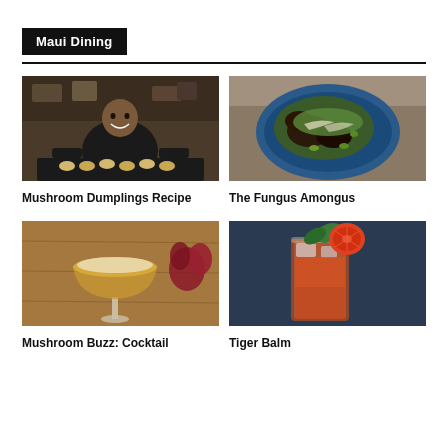Maui Dining
[Figure (photo): Chef holding a tray of mushroom dumplings in a kitchen]
Mushroom Dumplings Recipe
[Figure (photo): Blue plate with a salad featuring mushrooms, edamame, and greens]
The Fungus Amongus
[Figure (photo): Coupe cocktail glass with amber drink on a wooden surface with flowers]
Mushroom Buzz: Cocktail
[Figure (photo): Tall glass cocktail garnished with blood orange slice and leaf]
Tiger Balm